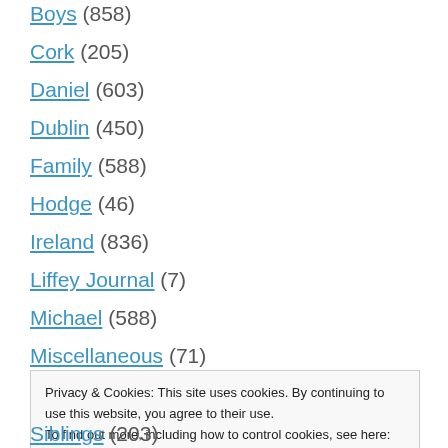Boys (858)
Cork (205)
Daniel (603)
Dublin (450)
Family (588)
Hodge (46)
Ireland (836)
Liffey Journal (7)
Michael (588)
Miscellaneous (71)
Privacy & Cookies: This site uses cookies. By continuing to use this website, you agree to their use. To find out more, including how to control cookies, see here: Cookie Policy
Siblings (203)